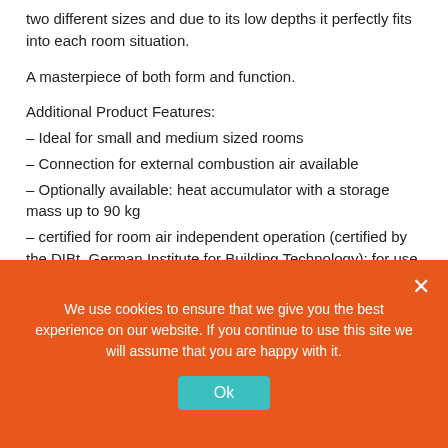two different sizes and due to its low depths it perfectly fits into each room situation.
A masterpiece of both form and function.
Additional Product Features:
– Ideal for small and medium sized rooms
– Connection for external combustion air available
– Optionally available: heat accumulator with a storage mass up to 90 kg
– certified for room air independent operation (certified by the DIBt, German Institute for Building Technology): for use with a controlled ventilation and venting system
– Upper part can rotate by 60° in both directions (optional)
Installation available in Greater London and surrounding
We use cookies to ensure that we give you the best experience on our website. If you continue to use this site we will assume that you are happy with it.